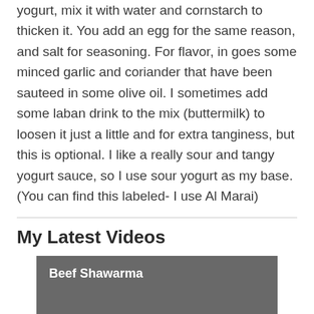yogurt, mix it with water and cornstarch to thicken it. You add an egg for the same reason, and salt for seasoning. For flavor, in goes some minced garlic and coriander that have been sauteed in some olive oil. I sometimes add some laban drink to the mix (buttermilk) to loosen it just a little and for extra tanginess, but this is optional. I like a really sour and tangy yogurt sauce, so I use sour yogurt as my base. (You can find this labeled- I use Al Marai)
My Latest Videos
[Figure (other): Video thumbnail with black background and gray overlay showing title 'Beef Shawarma']